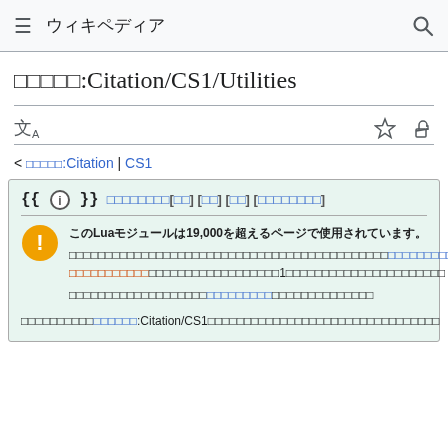ウィキペディア
モジュール:Citation/CS1/Utilities
< モジュール:Citation | CS1
{{ⓘ}} このテンプレートの説明文[編集] [履歴] [更新] [ドキュメント]
このモジュールはLuaで書かれており、19,000を超えるページで使用されています。変更が広く影響するため、いかなる変更もサンドボックスか試験用の下位ページで試してから、モジュールのトークページに変更点を提案してください。1つの編集で誤った変更が多数のページに影響を及ぼす可能性があります。
このドキュメントページはモジュール:Citation/CS1の下位モジュールであるこのモジュールの内容、使用方法、その他の情報を説明しています。